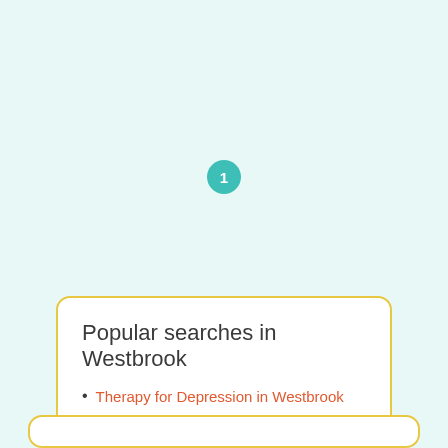1
Popular searches in Westbrook
Therapy for Depression in Westbrook
Therapy for Anxiety in Westbrook
Therapy for PTSD in Westbrook
Therapy for Child and Adolescent Issues in Westbrook
Therapy for Relationship and Marriage Issues in Westbrook